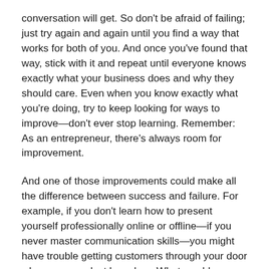conversation will get. So don't be afraid of failing; just try again and again until you find a way that works for both of you. And once you've found that way, stick with it and repeat until everyone knows exactly what your business does and why they should care. Even when you know exactly what you're doing, try to keep looking for ways to improve—don't ever stop learning. Remember: As an entrepreneur, there's always room for improvement.
And one of those improvements could make all the difference between success and failure. For example, if you don't learn how to present yourself professionally online or offline—if you never master communication skills—you might have trouble getting customers through your door when your product launches. What would happen then? Your business would fail…unless you put effort into improving these skills!